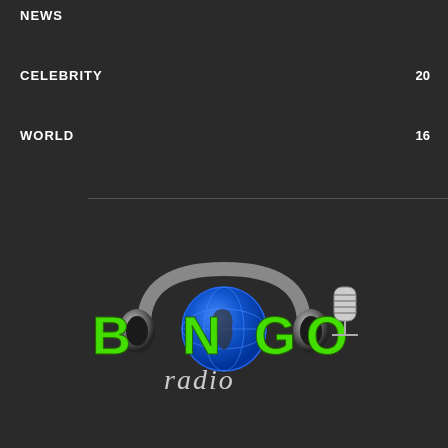NEWS
CELEBRITY 20
WORLD 16
[Figure (logo): Bongo Radio logo with headphones, globe, microphone, green text reading BONGO and cursive radio]